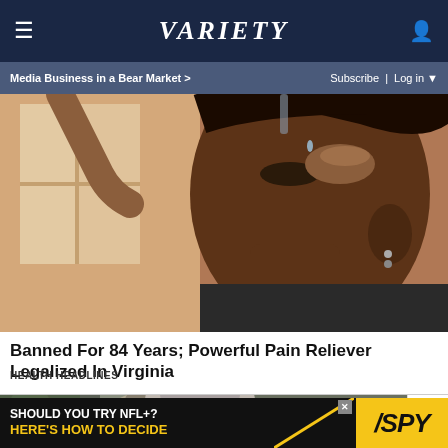VARIETY
Media Business in a Bear Market > | Subscribe | Log in
[Figure (photo): A woman tilting her head back, appearing to take a liquid drop or substance into her mouth, with a blurred indoor background.]
Banned For 84 Years; Powerful Pain Reliever Legalized In Virginia
HEALTH HEADLINES
[Figure (photo): Crowd scene with people in foreground, photographers with cameras visible in background, outdoors.]
X
SHOULD YOU TRY NFL+? HERE'S HOW TO DECIDE | SPY